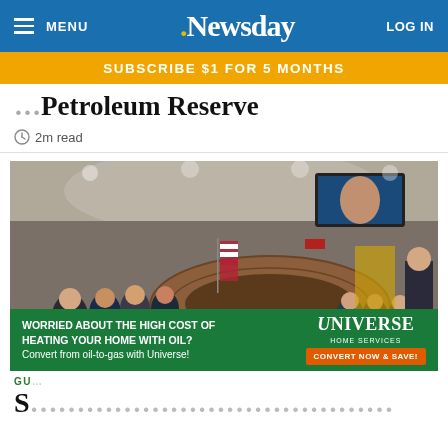MENU | Newsday | LOG IN
SUBSCRIBE $1 FOR 5 MONTHS
...Petroleum Reserve
2m read
[Figure (photo): A large circular conference room with people seated around a curved wooden table, an American flag and another flag visible, ceiling screens showing a presentation, overhead recessed lighting.]
WORRIED ABOUT THE HIGH COST OF HEATING YOUR HOME WITH OIL? Convert from oil-to-gas with Universe! | UNIVERSE HOME SERVICES | CONVERT NOW & SAVE!
GU...
S...